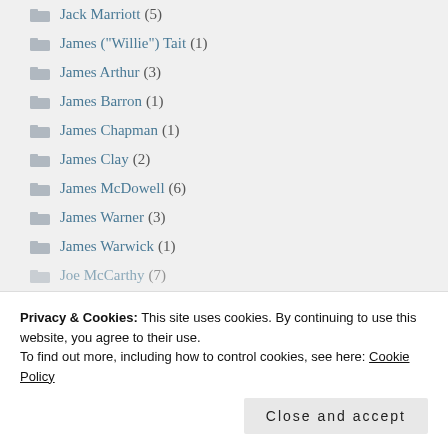Jack Marriott (5)
James ("Willie") Tait (1)
James Arthur (3)
James Barron (1)
James Chapman (1)
James Clay (2)
James McDowell (6)
James Warner (3)
James Warwick (1)
Joe McCarthy (7)
Privacy & Cookies: This site uses cookies. By continuing to use this website, you agree to their use.
To find out more, including how to control cookies, see here: Cookie Policy
Close and accept